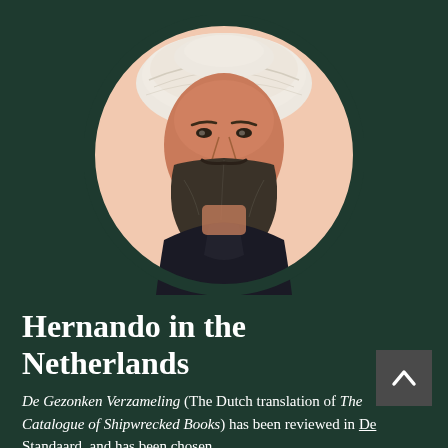[Figure (illustration): A circular illustration on a dark green background showing a portrait of Hernando Colón — a bearded man wearing a large white turban-like hat and a dark robe, rendered in a sketch/watercolor style with peach/salmon background inside the circle.]
Hernando in the Netherlands
De Gezonken Verzameling (The Dutch translation of The Catalogue of Shipwrecked Books) has been reviewed in De Standaard, and has been chosen